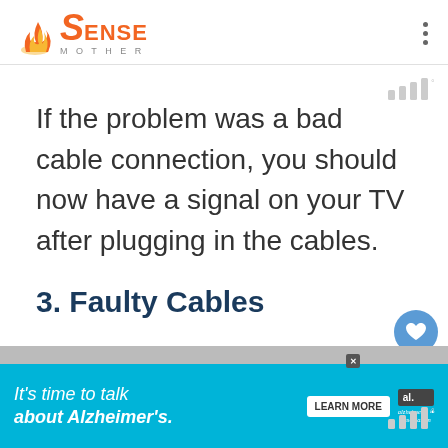SENSE MOTHER
If the problem was a bad cable connection, you should now have a signal on your TV after plugging in the cables.
3. Faulty Cables
[Figure (screenshot): Alzheimer's Association advertisement banner: 'It's time to talk about Alzheimer's.' with a Learn More button and Alzheimer's Association logo]